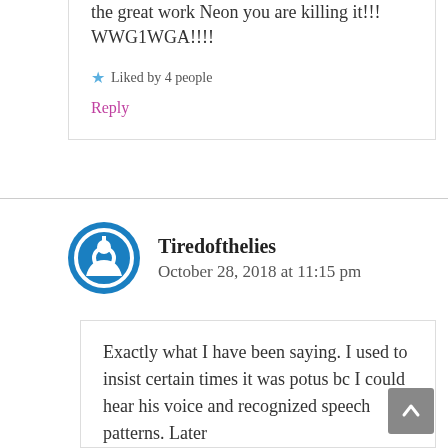the great work Neon you are killing it!!! WWG1WGA!!!!
Liked by 4 people
Reply
Tiredofthelies
October 28, 2018 at 11:15 pm
Exactly what I have been saying. I used to insist certain times it was potus bc I could hear his voice and recognized speech patterns. Later